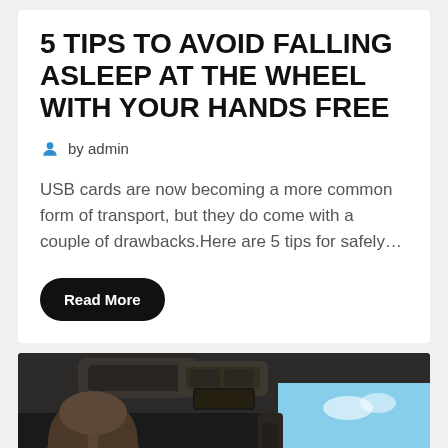5 TIPS TO AVOID FALLING ASLEEP AT THE WHEEL WITH YOUR HANDS FREE
by admin
USB cards are now becoming a more common form of transport, but they do come with a couple of drawbacks.Here are 5 tips for safely…
Read More
[Figure (photo): Car interior photo showing the view from inside a vehicle, with the dashboard, roof, and a scenic mountain/road view through the windshield with blue sky visible.]